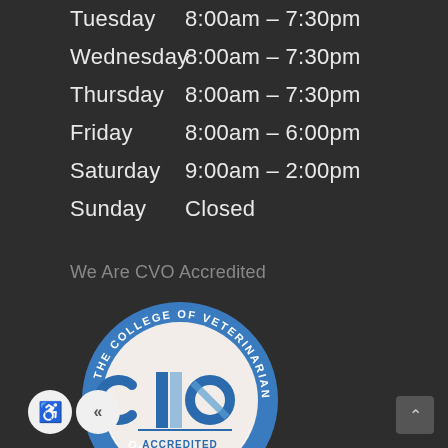Tuesday    8:00am – 7:30pm
Wednesday  8:00am – 7:30pm
Thursday   8:00am – 7:30pm
Friday     8:00am – 6:00pm
Saturday   9:00am – 2:00pm
Sunday     Closed
We Are CVO Accredited
[Figure (logo): The College of Veterinarians of Ontario – CVO Accredited Facility circular seal/badge. Blue outer ring with white text reading THE COLLEGE OF VETERINARIANS OF ONTARIO, inner cream circle with CVO logo in blue and 'ACCREDITED FACILITY' text.]